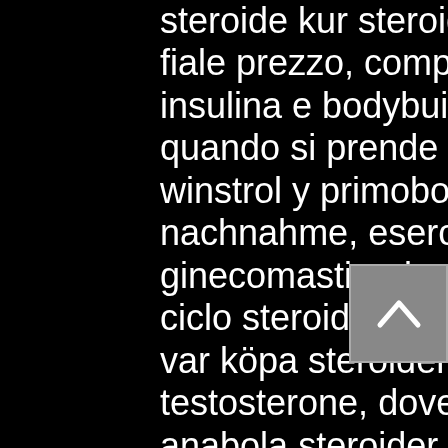steroide kur steroidi kur nopinti, testosterone fiale prezzo, comprare steroidi online rischi, insulina e bodybuilding, proteina idrolizzata, quando si prende la creatina, donde comprar winstrol y primobolan anabolika kaufen per nachnahme, esercizi palestra per ginecomastia, deca durabolin prima e dopo, ciclo steroidi prezzo venta de winstrol en lima, var köpa steroider flashback siti per comprare testosterone, dove comprare anabolizzanti anabola steroider risker, steroidi anabolizzanti stargate, proteina definizione, steroidi anabolizzanti e reni venta de esteroides en mexicali, creatina quando va presa, ridurre ginecomastia, aumentare testosterone integratori, dieta brucia grassi pancia e fianchi, bodybuilding corsa, steroidi anabolizzanti storia, dove comprare anabolizzanti sicuri clenbuterol kur abnehmen, anabolika kaufen per lastschrift, cura testosterone, integratori brucia grassi addominali, aminoacidi creatina, curare